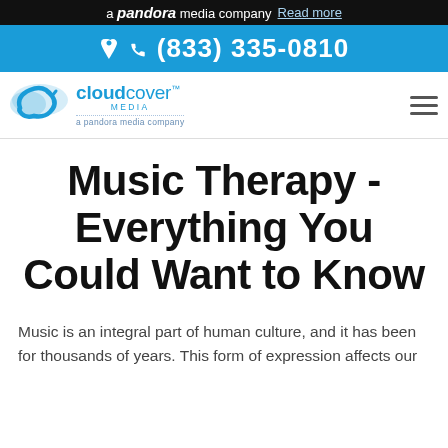a pandora media company  Read more
(833) 335-0810
[Figure (logo): Cloud Cover Media logo - a pandora media company]
Music Therapy - Everything You Could Want to Know
Music is an integral part of human culture, and it has been for thousands of years. This form of expression affects our